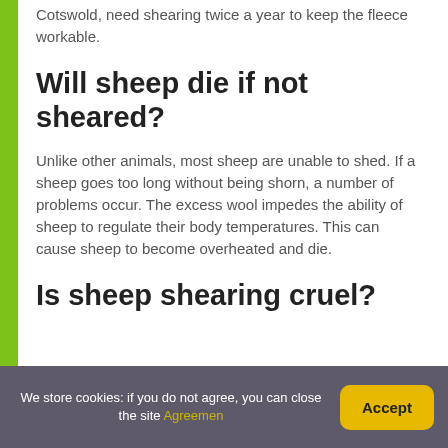Cotswold, need shearing twice a year to keep the fleece workable.
Will sheep die if not sheared?
Unlike other animals, most sheep are unable to shed. If a sheep goes too long without being shorn, a number of problems occur. The excess wool impedes the ability of sheep to regulate their body temperatures. This can cause sheep to become overheated and die.
Is sheep shearing cruel?
We store cookies: if you do not agree, you can close the site Agreemen